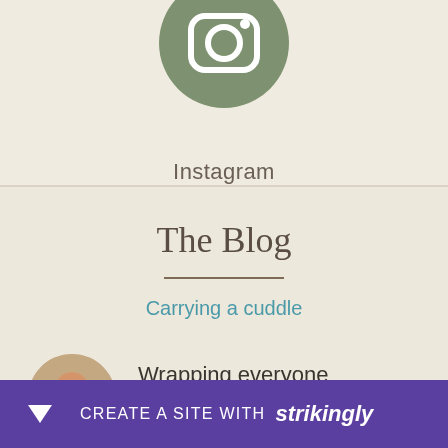[Figure (logo): Instagram icon in muted green circle, cropped at top]
Instagram
The Blog
Carrying a cuddle
[Figure (photo): Circular avatar photo of a child eating, blog post thumbnail]
Wrapping everyone
March 23, 2018
[Figure (photo): Circular avatar photo partially visible, second blog post thumbnail]
CREATE A SITE WITH strikingly